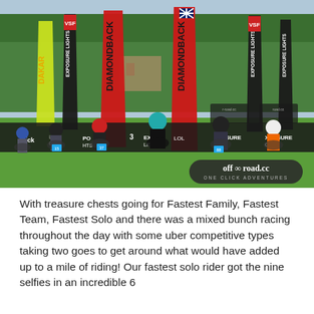[Figure (photo): Outdoor BMX/mountain bike race start line with children and young riders on bikes, with sponsor banners including Exposure Lights, road.cc, and Diamondback in the background, set in a grassy park with trees. off-road.cc ONE CLICK ADVENTURES watermark visible in bottom right.]
With treasure chests going for Fastest Family, Fastest Team, Fastest Solo and there was a mixed bunch racing throughout the day with some uber competitive types taking two goes to get around what would have added up to a mile of riding! Our fastest solo rider got the nine selfies in an incredible 6